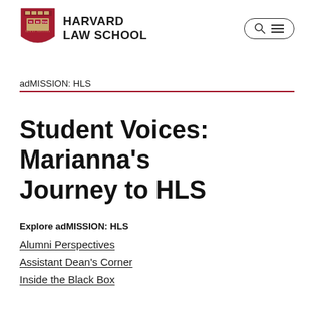[Figure (logo): Harvard Law School shield logo in red with gold and white details, alongside bold text reading HARVARD LAW SCHOOL]
[Figure (other): Search and menu navigation button — oval border containing a magnifying glass icon and a hamburger menu icon]
adMISSION: HLS
Student Voices: Marianna’s Journey to HLS
Explore adMISSION: HLS
Alumni Perspectives
Assistant Dean's Corner
Inside the Black Box